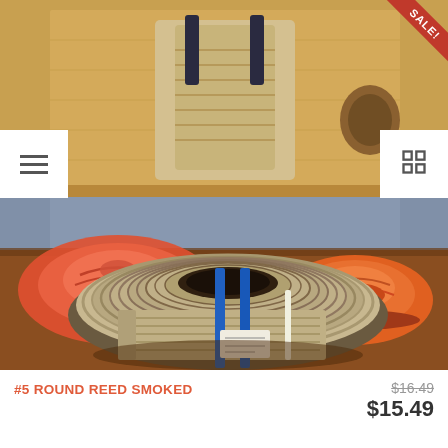[Figure (photo): Product photo of a coil of #5 Round Reed Smoked (natural tan/grey reed bundle tied with blue straps) on a wooden table, with colorful woven basket decorations in the background and a SALE ribbon in the top-right corner.]
#5 ROUND REED SMOKED
$16.49 (original price, struck through) $15.49 (sale price)